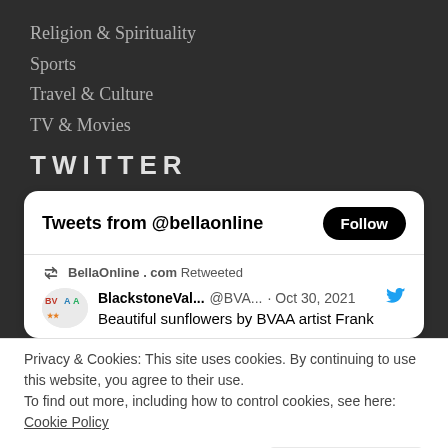Religion & Spirituality
Sports
Travel & Culture
TV & Movies
TWITTER
[Figure (screenshot): Twitter widget showing 'Tweets from @bellaonline' with a Follow button, a retweet by BellaOnline.com of a BlackstoneVal... @BVA... Oct 30, 2021 tweet: 'Beautiful sunflowers by BVAA artist Frank', and a cookie notice with a 'Close and accept' button at the bottom.]